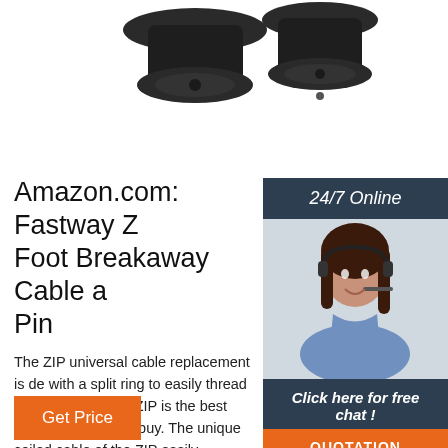[Figure (photo): Product photo showing two black Fastway breakaway cable pin hardware pieces against white background]
[Figure (photo): Customer service agent widget: woman with headset smiling, with 24/7 Online header, Click here for free chat! text, and QUOTATION button]
Amazon.com: Fastway Z Foot Breakaway Cable a Pin
The ZIP universal cable replacement is de with a split ring to easily thread onto your pin. The ZIP is the best breakaway cable y buy. The unique coiled cable of the ZIP easily stretches to your tow vehicle and clips right on with the included carabiner. There is no looping over and around the trailer tongue to keep the ...
Get Price